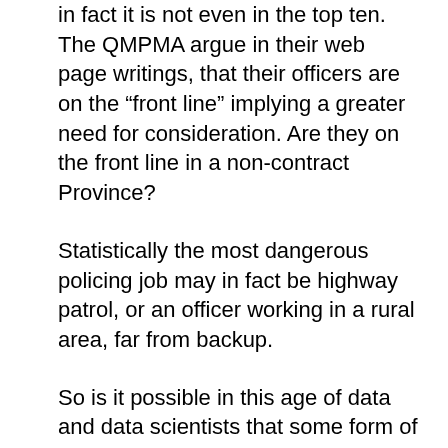in fact it is not even in the top ten. The QMPMA argue in their web page writings, that their officers are on the “front line” implying a greater need for consideration. Are they on the front line in a non-contract Province?
Statistically the most dangerous policing job may in fact be highway patrol, or an officer working in a rural area, far from backup.
So is it possible in this age of data and data scientists that some form of algorithm could calculate some base salary which is consistent with the specific job, in a a specific location, or take into account some specialized training or experience. Could it be loaded in such a way that measurements could be made of the level of hazard to a specific job, that there would be greater compensation for those working in uniform interacting with the public everyday? Could